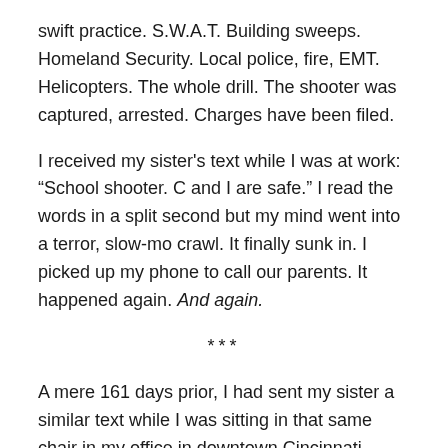swift practice. S.W.A.T. Building sweeps. Homeland Security. Local police, fire, EMT. Helicopters. The whole drill. The shooter was captured, arrested. Charges have been filed.
I received my sister's text while I was at work: “School shooter. C and I are safe.” I read the words in a split second but my mind went into a terror, slow-mo crawl. It finally sunk in. I picked up my phone to call our parents. It happened again. And again.
***
A mere 161 days prior, I had sent my sister a similar text while I was sitting in that same chair in my office in downtown Cincinnati.
In less than six months, our parents had the same, very